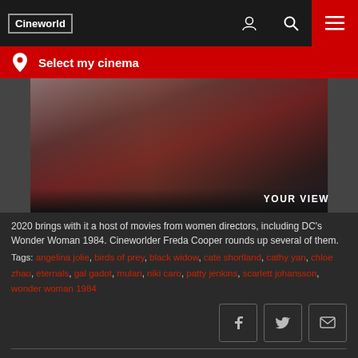Cineworld
Select my cinema
[Figure (photo): Wonder Woman 1984 movie still showing the hero in costume in front of a building, with 'YOUR VIEW' text overlay]
2020 brings with it a host of movies from women directors, including DC's Wonder Woman 1984. Cineworlder Freda Cooper rounds up several of them.
Tags: angelina jolie, birds of prey, black widow, cate shortland, cathy yan, chloe zhao, eternals, gal gadot, mulan, niki caro, patty jenkins, scarlett johansson, wonder woman 1984
Mulan: 5 massive changes you can expect to see in the Disney reboot